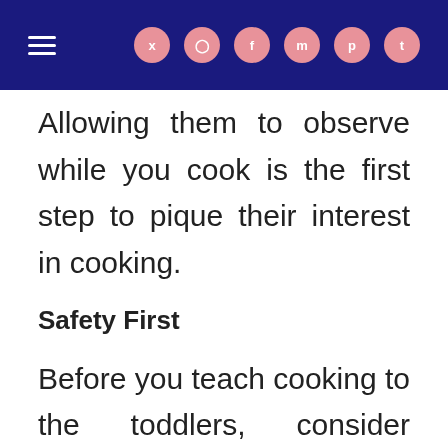Navigation and social media icons header bar
Allowing them to observe while you cook is the first step to pique their interest in cooking.
Safety First
Before you teach cooking to the toddlers, consider safety first. There are many kitchen-friendly tools for kids that you can order from Amazon and